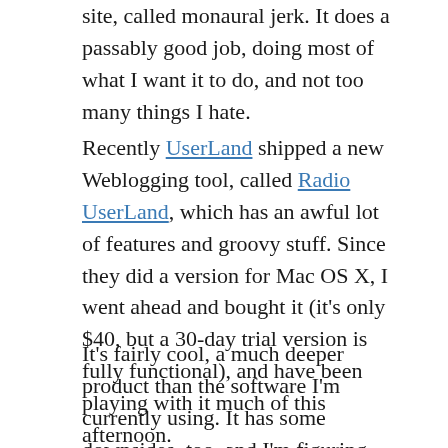site, called monaural jerk. It does a passably good job, doing most of what I want it to do, and not too many things I hate.
Recently UserLand shipped a new Weblogging tool, called Radio UserLand, which has an awful lot of features and groovy stuff. Since they did a version for Mac OS X, I went ahead and bought it (it's only $40, but a 30-day trial version is fully functional), and have been playing with it much of this afternoon.
It's fairly cool, a much deeper product than the software I'm currently using. It has some downsides, too, and I'm figuring out some of those as I go. You can read more of that at my Radio/bl...